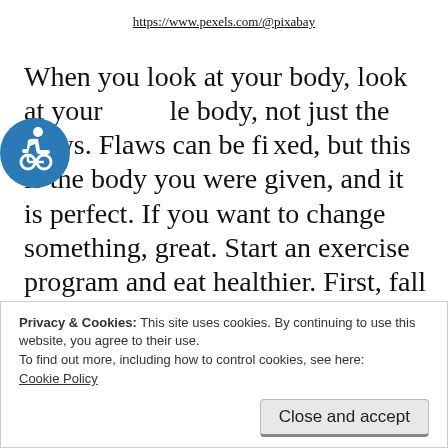https://www.pexels.com/@pixabay
When you look at your body, look at your whole body, not just the flaws. Flaws can be fixed, but this is the body you were given, and it is perfect. If you want to change something, great. Start an exercise program and eat healthier. First, fall in love with your body as it
Privacy & Cookies: This site uses cookies. By continuing to use this website, you agree to their use.
To find out more, including how to control cookies, see here:
Cookie Policy

Close and accept